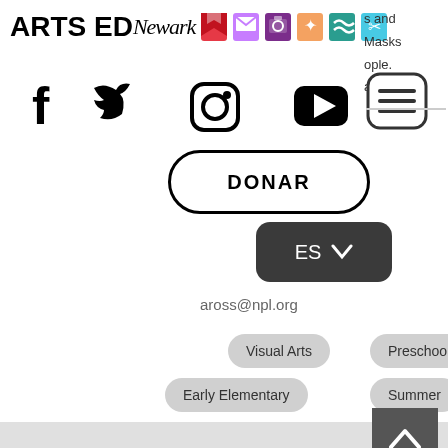[Figure (logo): Arts Ed Newark logo with colorful icons]
s and
Masks
ople.
anch
[Figure (infographic): Social media icons: Facebook, Twitter, Instagram, YouTube and hamburger menu button]
[Figure (other): DONAR button with rounded border]
[Figure (other): ES language dropdown button]
aross@npl.org
Visual Arts
Preschool
Early Elementary
Summer
Free
Ages Served
Program Type